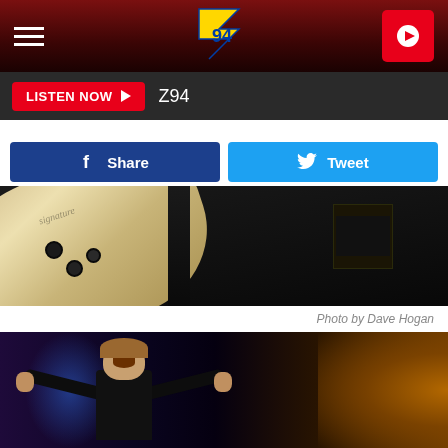[Figure (screenshot): Z94 radio station app header bar with hamburger menu on left, Z94 logo in center, and red play button on right. Dark red/maroon gradient background.]
[Figure (screenshot): LISTEN NOW button in red with play triangle, followed by Z94 station name, on dark grey bar.]
[Figure (screenshot): Facebook Share button (dark blue) and Tweet button (light blue) social sharing row.]
[Figure (photo): Close-up photo of a guitar body (light cream/white color) being held up, with dark stage background and equipment visible.]
Photo by Dave Hogan
[Figure (photo): Rock performer on stage with arms wide open, wearing black sequined jacket, with colorful stage lighting including purple and gold/amber tones.]